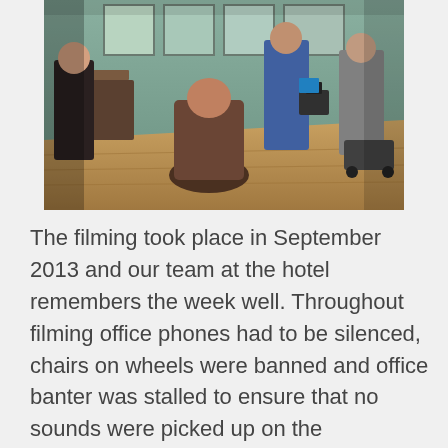[Figure (photo): Behind-the-scenes photo of a film crew working inside a hotel room. Multiple crew members stand around equipment including cameras on dollies. A person is seated in a chair in the foreground with their back to the camera. The room has wooden floors, windows, and a table with items on it.]
The filming took place in September 2013 and our team at the hotel remembers the week well. Throughout filming office phones had to be silenced, chairs on wheels were banned and office banter was stalled to ensure that no sounds were picked up on the microphones and no creaky floors creaked at the wrong moment.